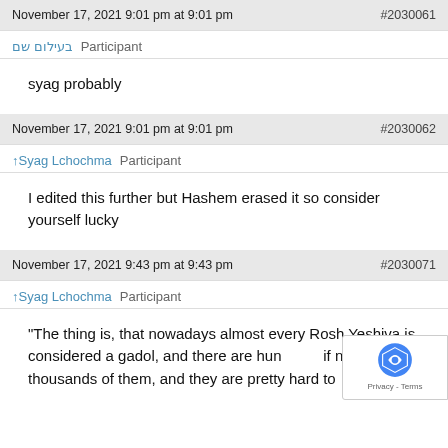November 17, 2021 9:01 pm at 9:01 pm  #2030061
בעילום שם  Participant
syag probably
November 17, 2021 9:01 pm at 9:01 pm  #2030062
↑Syag Lchochma  Participant
I edited this further but Hashem erased it so consider yourself lucky
November 17, 2021 9:43 pm at 9:43 pm  #2030071
↑Syag Lchochma  Participant
“The thing is, that nowadays almost every Rosh Yeshiva is considered a gadol, and there are hund if not thousands of them, and they are pretty hard to